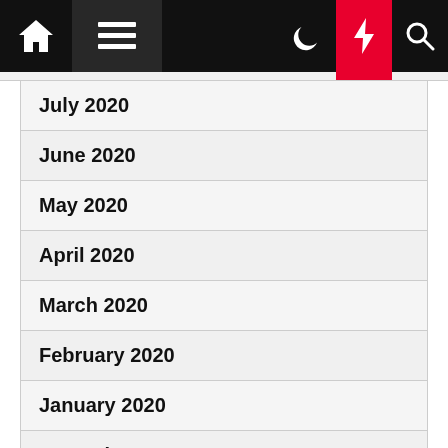Navigation bar with home, menu, moon, bolt, and search icons
July 2020
June 2020
May 2020
April 2020
March 2020
February 2020
January 2020
December 2019
November 2019